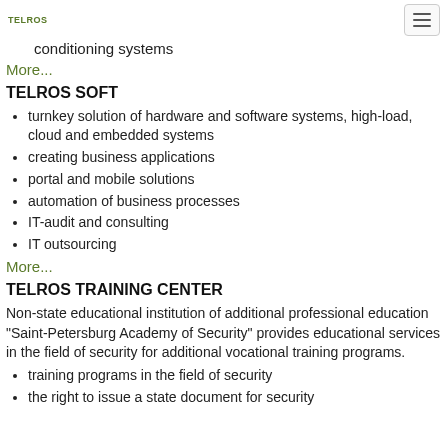TELROS (logo)
conditioning systems
More...
TELROS SOFT
turnkey solution of hardware and software systems, high-load, cloud and embedded systems
creating business applications
portal and mobile solutions
automation of business processes
IT-audit and consulting
IT outsourcing
More...
TELROS TRAINING CENTER
Non-state educational institution of additional professional education "Saint-Petersburg Academy of Security" provides educational services in the field of security for additional vocational training programs.
training programs in the field of security
the right to issue a state document for security...